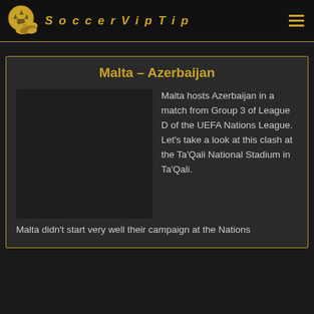SoccerVipTip
Malta – Azerbaijan
[Figure (photo): Image placeholder for match photo]
Malta hosts Azerbaijan in a match from Group 3 of League D of the UEFA Nations League. Let's take a look at this clash at the Ta'Qali National Stadium in Ta'Qali.
Malta didn't start very well their campaign at the Nations